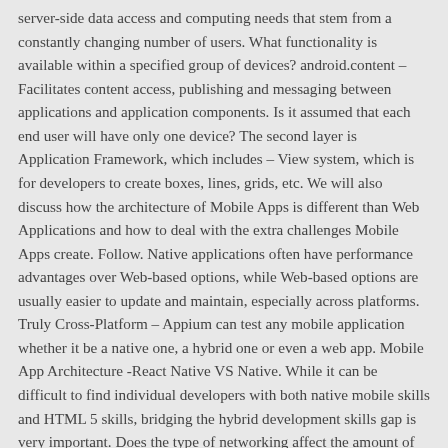server-side data access and computing needs that stem from a constantly changing number of users. What functionality is available within a specified group of devices? android.content – Facilitates content access, publishing and messaging between applications and application components. Is it assumed that each end user will have only one device? The second layer is Application Framework, which includes – View system, which is for developers to create boxes, lines, grids, etc. We will also discuss how the architecture of Mobile Apps is different than Web Applications and how to deal with the extra challenges Mobile Apps create. Follow. Native applications often have performance advantages over Web-based options, while Web-based options are usually easier to update and maintain, especially across platforms. Truly Cross-Platform – Appium can test any mobile application whether it be a native one, a hybrid one or even a web app. Mobile App Architecture -React Native VS Native. While it can be difficult to find individual developers with both native mobile skills and HTML 5 skills, bridging the hybrid development skills gap is very important. Does the type of networking affect the amount of data transferred from the mobile application to the enterprise server? The ability to deploy the mobile application in partial increments versus the entire large mobile app monolith; The first thought was to simply build a native mobile app using loosely coupled modules, that